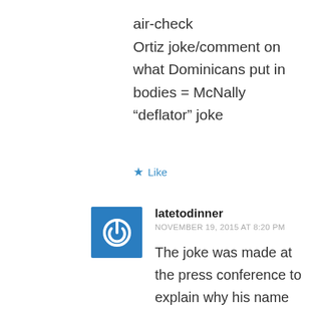air-check
Ortiz joke/comment on what Dominicans put in bodies = McNally “deflator” joke
★ Like
latetodinner
NOVEMBER 19, 2015 AT 8:20 PM
The joke was made at the press conference to explain why his name was on the list…not 8 months earlier out of context in a private